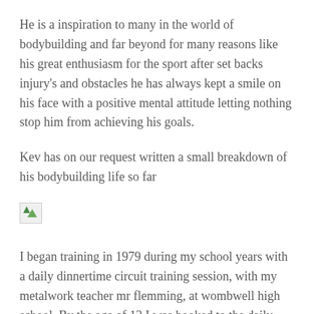He is a inspiration to many in the world of bodybuilding and far beyond for many reasons like his great enthusiasm for the sport after set backs injury's and obstacles he has always kept a smile on his face with a positive mental attitude letting nothing stop him from achieving his goals.
Kev has on our request written a small breakdown of his bodybuilding life so far
[Figure (photo): Broken/missing image placeholder icon]
I began training in 1979 during my school years with a daily dinnertime circuit training session, with my metalwork teacher mr flemming, at wombwell high school. By the age of 13 I was hooked to the daily buzz of freshly released